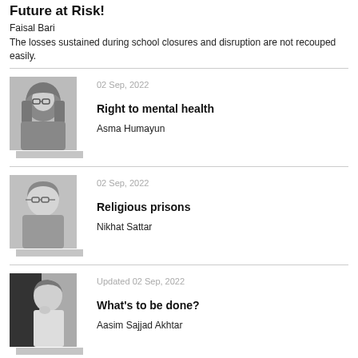Future at Risk!
Faisal Bari
The losses sustained during school closures and disruption are not recouped easily.
[Figure (photo): Grayscale photo of a woman wearing a hijab and glasses]
02 Sep, 2022
Right to mental health
Asma Humayun
[Figure (photo): Grayscale photo of a woman with short hair and glasses]
02 Sep, 2022
Religious prisons
Nikhat Sattar
[Figure (photo): Grayscale photo of a man with a thoughtful pose]
Updated 02 Sep, 2022
What's to be done?
Aasim Sajjad Akhtar